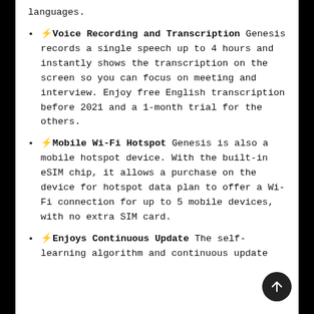languages.
⚡️Voice Recording and Transcription Genesis records a single speech up to 4 hours and instantly shows the transcription on the screen so you can focus on meeting and interview. Enjoy free English transcription before 2021 and a 1-month trial for the others.
⚡️Mobile Wi-Fi Hotspot Genesis is also a mobile hotspot device. With the built-in eSIM chip, it allows a purchase on the device for hotspot data plan to offer a Wi-Fi connection for up to 5 mobile devices, with no extra SIM card.
⚡️Enjoys Continuous Update The self-learning algorithm and continuous update